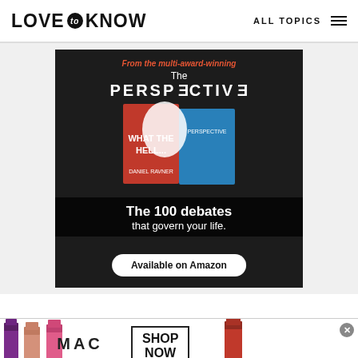LOVE to KNOW | ALL TOPICS
[Figure (photo): Advertisement for 'The Perspective' book by Daniel Ravner. Dark background with book image showing 'WHAT THE HELL...' text. Red promotional text: 'From the multi-award-winning'. White title: 'The PERSPECTIVE'. Black overlay banner: 'The 100 debates that govern your life.' White pill button: 'Available on Amazon']
[Figure (photo): MAC cosmetics advertisement banner showing colorful lipsticks (purple, peach, pink, red) with MAC logo text and 'SHOP NOW' button in bordered box. Close button (X) at top right.]